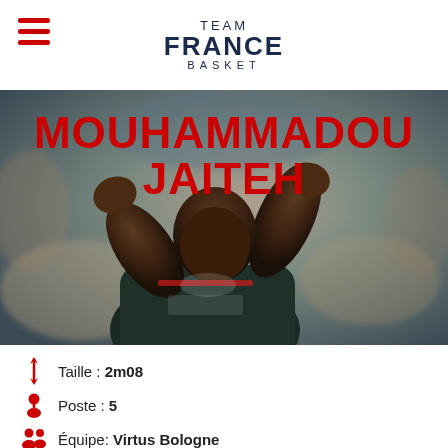TEAM FRANCE BASKET
[Figure (photo): Mouhammadou Jaiteh basketball player clapping hands, wearing France national team jersey, crowd blurred in background]
MOUHAMMADOU JAITEH
Taille : 2m08
Poste : 5
Équipe: Virtus Bologne
Né le : 27/11/1994